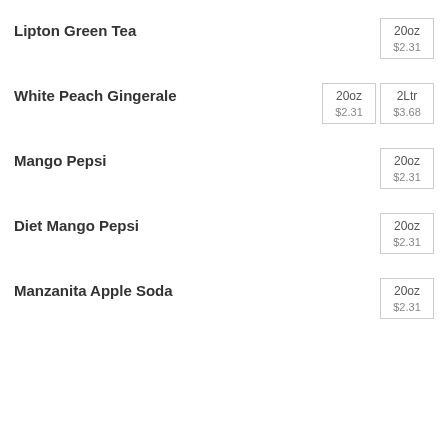Lipton Green Tea — 20oz $2.31
White Peach Gingerale — 20oz $2.31, 2Ltr $3.68
Mango Pepsi — 20oz $2.31
Diet Mango Pepsi — 20oz $2.31
Manzanita Apple Soda — 20oz $2.31